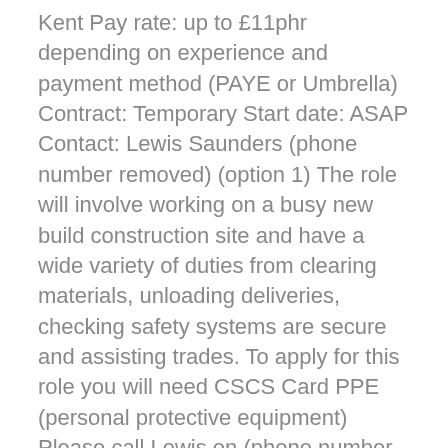Kent Pay rate: up to £11phr depending on experience and payment method (PAYE or Umbrella) Contract: Temporary Start date: ASAP Contact: Lewis Saunders (phone number removed) (option 1) The role will involve working on a busy new build construction site and have a wide variety of duties from clearing materials, unloading deliveries, checking safety systems are secure and assisting trades. To apply for this role you will need CSCS Card PPE (personal protective equipment) Please call Lewis on (phone number removed) (option 1) for immediate starts Randstad CPE values diversity and promotes equality. No terminology in this advert is intended to discriminate against any of the protected characteristics that fall under the Equality Act 2010. We encourage and welcome applications from all sections of society and are more than happy to discuss reasonable adjustments and/or additional arrangements as required to support your application. Candidates must be eligible to live and work in the UK. For the purposes of the Conduct Regulations 2003